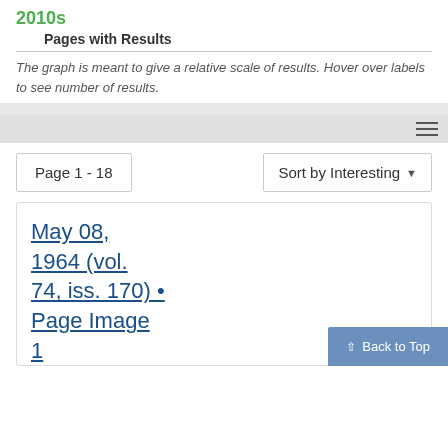2010s
Pages with Results
The graph is meant to give a relative scale of results. Hover over labels to see number of results.
Page 1 - 18
Sort by Interesting
May 08, 1964 (vol. 74, iss. 170) • Page Image 1